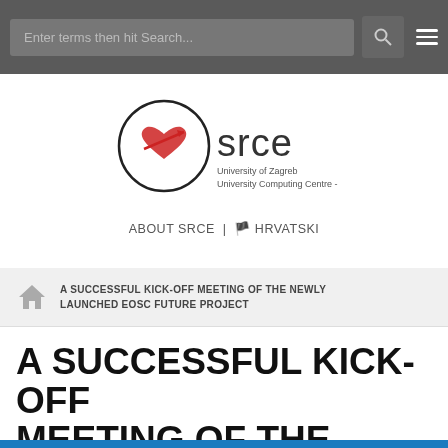Enter terms then hit Search...
[Figure (logo): SRCE - University of Zagreb University Computing Centre logo with circular heart icon]
ABOUT SRCE | 🏴 HRVATSKI
A SUCCESSFUL KICK-OFF MEETING OF THE NEWLY LAUNCHED EOSC FUTURE PROJECT
A SUCCESSFUL KICK-OFF MEETING OF THE NEWLY